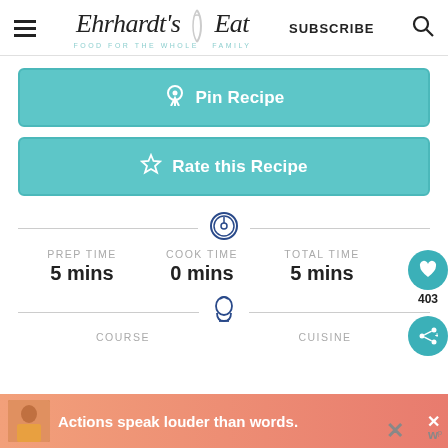Ehrhardt's Eat - Food for the Whole Family | SUBSCRIBE
[Figure (screenshot): Pin Recipe button - teal rounded rectangle with Pinterest icon and text]
[Figure (screenshot): Rate this Recipe button - teal rounded rectangle with star icon and text]
PREP TIME 5 mins | COOK TIME 0 mins | TOTAL TIME 5 mins
COURSE | CUISINE
[Figure (infographic): Ad banner: person with text 'Actions speak louder than words.']